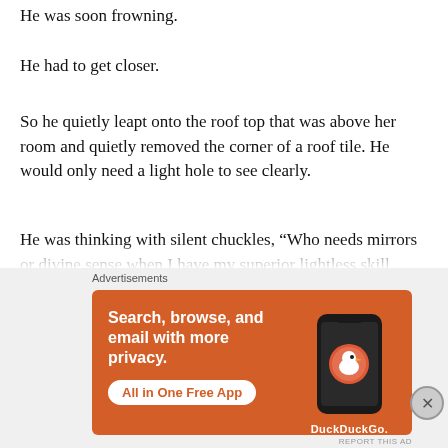He was soon frowning.
He had to get closer.
So he quietly leapt onto the roof top that was above her room and quietly removed the corner of a roof tile. He would only need a light hole to see clearly.
He was thinking with silent chuckles, “Who needs mirrors or divine sense when I have my superior lightless skill anyway? I only need my eyes.”
Xue Qianxue was indeed in the bath tub and he could see her bare shoulder and beautiful shy face.
[Figure (screenshot): DuckDuckGo advertisement banner with orange background. Text reads 'Search, browse, and email with more privacy. All in One Free App' with a phone graphic and DuckDuckGo logo.]